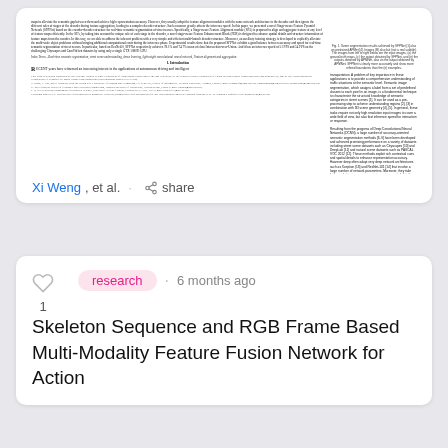[Figure (screenshot): Thumbnail preview of a two-column academic paper with a figure showing street scene images and depth/segmentation maps in the top-right corner. The paper text is in small font across two columns.]
Xi Weng, et al.  ·  share
research · 6 months ago
Skeleton Sequence and RGB Frame Based Multi-Modality Feature Fusion Network for Action